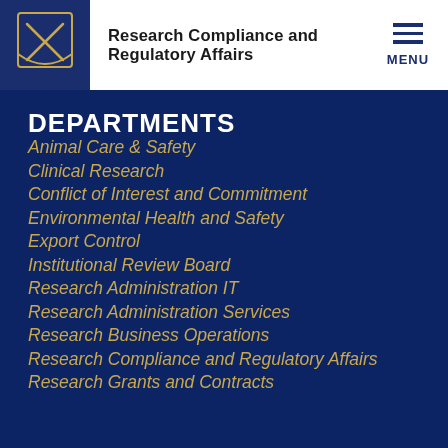Research Compliance and Regulatory Affairs
DEPARTMENTS
Animal Care & Safety
Clinical Research
Conflict of Interest and Commitment
Environmental Health and Safety
Export Control
Institutional Review Board
Research Administration IT
Research Administration Services
Research Business Operations
Research Compliance and Regulatory Affairs
Research Grants and Contracts